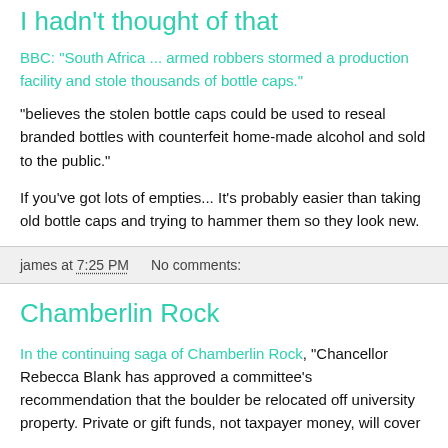I hadn't thought of that
BBC: "South Africa ... armed robbers stormed a production facility and stole thousands of bottle caps."
"believes the stolen bottle caps could be used to reseal branded bottles with counterfeit home-made alcohol and sold to the public."
If you've got lots of empties... It's probably easier than taking old bottle caps and trying to hammer them so they look new.
james at 7:25 PM    No comments:
Chamberlin Rock
In the continuing saga of Chamberlin Rock, "Chancellor Rebecca Blank has approved a committee's recommendation that the boulder be relocated off university property. Private or gift funds, not taxpayer money, will cover